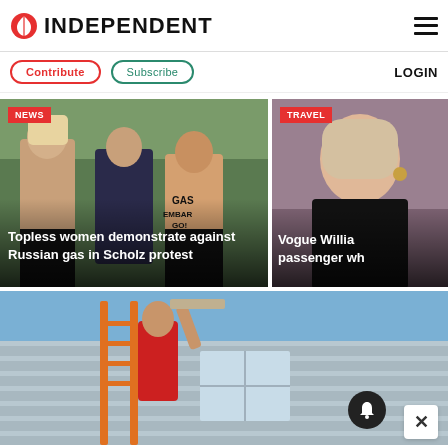INDEPENDENT
Contribute | Subscribe | LOGIN
[Figure (photo): Topless women protesting Russian gas at Scholz event, with red NEWS tag overlay and headline: Topless women demonstrate against Russian gas in Scholz protest]
[Figure (photo): Smiling woman (Vogue Williams) with red TRAVEL tag overlay and partial headline: Vogue Willia... passenger wh...]
[Figure (photo): Person on ladder working on house siding, with notification bell icon and close button overlay]